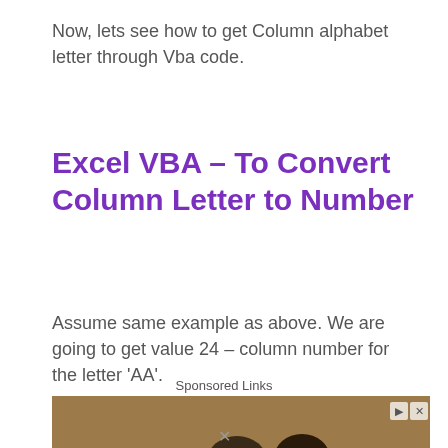Now, lets see how to get Column alphabet letter through Vba code.
Excel VBA – To Convert Column Letter to Number
Assume same example as above. We are going to get value 24 – column number for the letter 'AA'.
Sponsored Links
[Figure (photo): Advertisement image showing people sitting around a table in a meeting or classroom setting.]